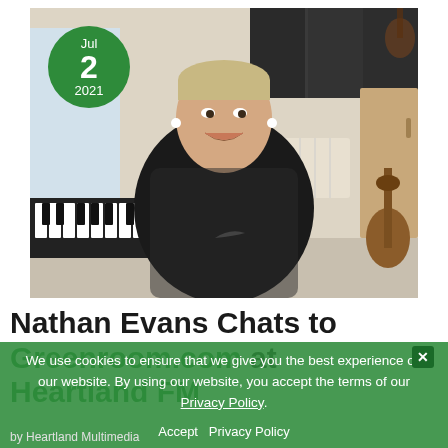[Figure (photo): Young man in black Nike hoodie smiling, sitting in a home music studio with a piano/keyboard on the left and guitars visible in the background. A green circular date badge reads Jul 2 2021 overlaid on the top-left of the image.]
Nathan Evans Chats to Greenroom.com at Heartland FM
We use cookies to ensure that we give you the best experience on our website. By using our website, you accept the terms of our Privacy Policy.
Accept   Privacy Policy
by Heartland Multimedia